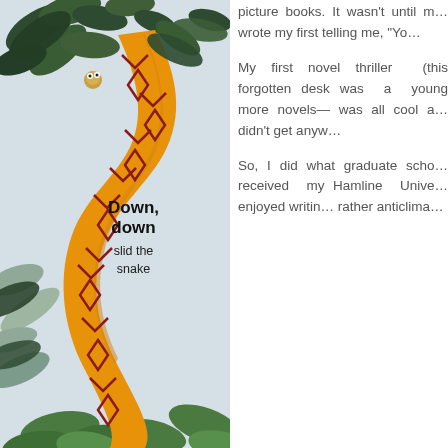[Figure (illustration): Children's book illustration of a large yellow-orange snake with red diamond/geometric patterns slithering down through dark green and light green/grey foliage. A small animal (possibly a monkey or squirrel) peeks through the leaves at the top. The background is a pale blue-grey. Bold text reads 'Down, down' and below that 'slid the snake'.]
picture books. It wasn't until m... wrote my first telling me, "Yo...
My first novel thriller (this forgotten desk was a young more novels— was all cool a didn't get anyw...
So, I did what graduate scho received my Hamline Unive enjoyed writin rather anticlima...